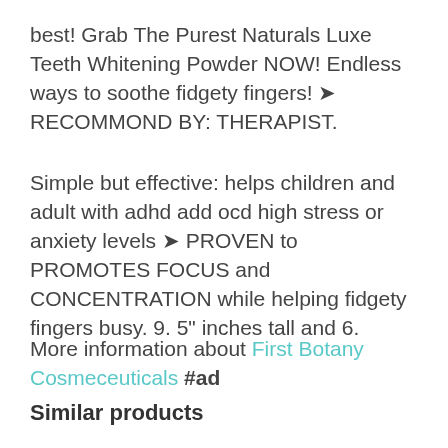best! Grab The Purest Naturals Luxe Teeth Whitening Powder NOW! Endless ways to soothe fidgety fingers! ➤ RECOMMOND BY: THERAPIST.
Simple but effective: helps children and adult with adhd add ocd high stress or anxiety levels ➤ PROVEN to PROMOTES FOCUS and CONCENTRATION while helping fidgety fingers busy. 9. 5" inches tall and 6.
More information about First Botany Cosmeceuticals #ad
Similar products